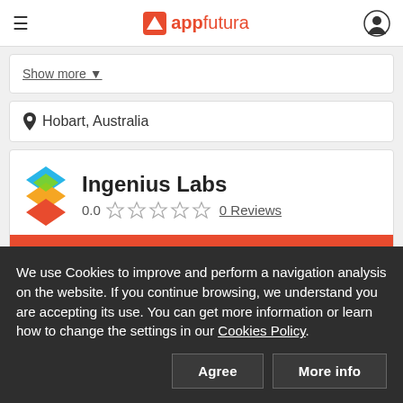appfutura
Show more ▾
Hobart, Australia
Ingenius Labs
0.0 ☆ ☆ ☆ ☆ ☆ 0 Reviews
We use Cookies to improve and perform a navigation analysis on the website. If you continue browsing, we understand you are accepting its use. You can get more information or learn how to change the settings in our Cookies Policy.